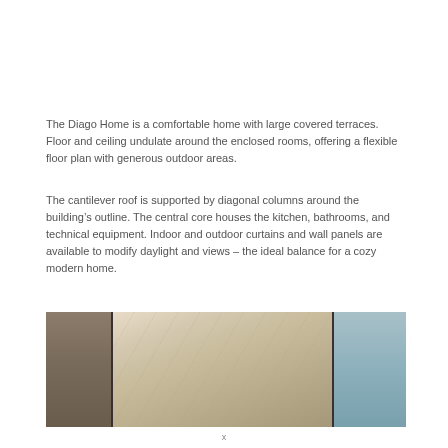The Diago Home is a comfortable home with large covered terraces. Floor and ceiling undulate around the enclosed rooms, offering a flexible floor plan with generous outdoor areas.
The cantilever roof is supported by diagonal columns around the building’s outline. The central core houses the kitchen, bathrooms, and technical equipment. Indoor and outdoor curtains and wall panels are available to modify daylight and views – the ideal balance for a cozy modern home.
[Figure (photo): Interior photograph of the Diago Home showing a wood-paneled ceiling with radiating grain pattern, dark structural column on the left, and glass wall/window panels on the right revealing exterior views.]
x